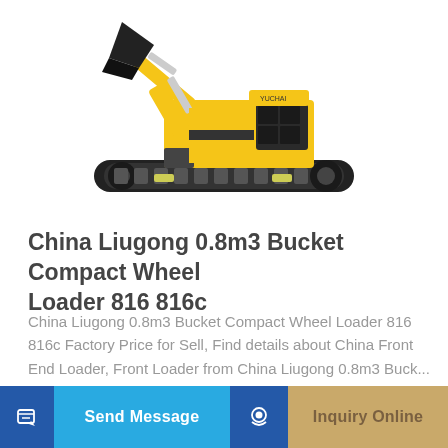[Figure (photo): Yellow and black compact mini excavator (Yuchai brand) with bucket raised, on rubber tracks, white background]
China Liugong 0.8m3 Bucket Compact Wheel Loader 816 816c
China Liugong 0.8m3 Bucket Compact Wheel Loader 816 816c Factory Price for Sell, Find details about China Front End Loader, Front Loader from China Liugong 0.8m3 Buck...
Learn More
Send Message
Inquiry Online